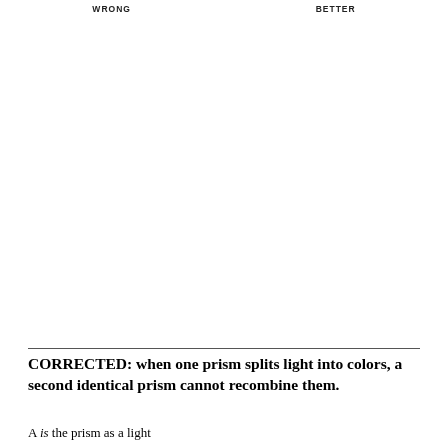WRONG   BETTER
[Figure (illustration): Two-column illustration area showing wrong and better diagrams related to prism light splitting. Area appears blank/white in this crop.]
CORRECTED: when one prism splits light into colors, a second identical prism cannot recombine them.
A is the prism as a light...